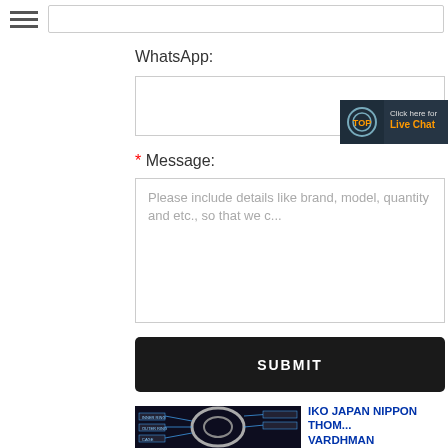WhatsApp:
* Message:
Please include details like brand, model, quantity and etc., so that we can quickly quote for you!
SUBMIT
IKO JAPAN NIPPON THOM... VARDHMAN
25 Feb 2013 we at vardhman bearings are , KT 141811 , KT 141813 , KT 141816 , K...